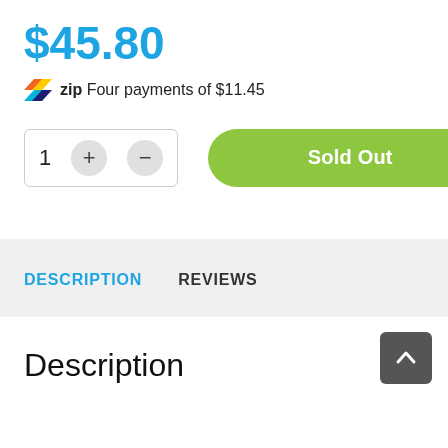$45.80
zip Four payments of $11.45
[Figure (screenshot): Quantity selector box showing '1' with + and - buttons, a cart icon, and a green 'Sold Out' button]
DESCRIPTION
REVIEWS
Description